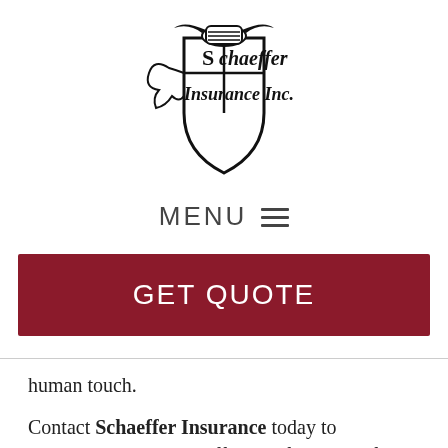[Figure (logo): Schaeffer Insurance Inc. logo with a knight's helmet and shield crest with decorative blackletter company name]
MENU ≡
GET QUOTE
human touch.
Contact Schaeffer Insurance today to experience the ERIE difference for yourself